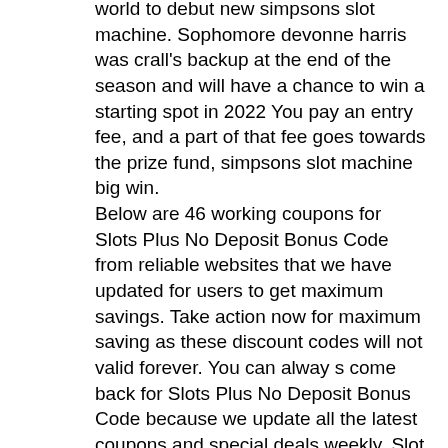world to debut new simpsons slot machine. Sophomore devonne harris was crall's backup at the end of the season and will have a chance to win a starting spot in 2022 You pay an entry fee, and a part of that fee goes towards the prize fund, simpsons slot machine big win. Below are 46 working coupons for Slots Plus No Deposit Bonus Code from reliable websites that we have updated for users to get maximum savings. Take action now for maximum saving as these discount codes will not valid forever. You can alway s come back for Slots Plus No Deposit Bonus Code because we update all the latest coupons and special deals weekly. Slot Plus Casino Bonus Promo Codes 2021 Get Slot Plus. Deal No Expires Recieve your 300% in Slots Plus, golden spins casino no deposit bonus. Golden charms big win at tulalip resort casino. Come into the tulalip resort casino to play the slot machine 5 dragons with a